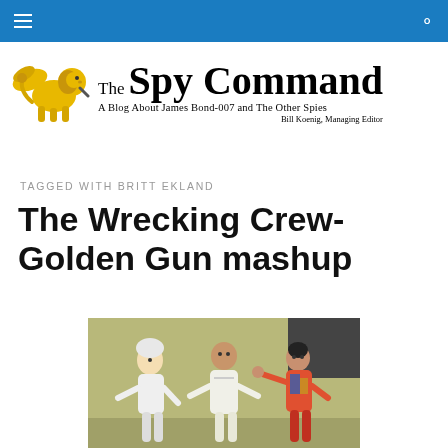[Figure (logo): The Spy Command blog logo with golden winged lion and serif text reading 'The Spy Command — A Blog About James Bond-007 and The Other Spies — Bill Koenig, Managing Editor']
TAGGED WITH BRITT EKLAND
The Wrecking Crew-Golden Gun mashup
[Figure (photo): Three people in a fighting/action scene: a blonde woman in white on the left, a man in white in the center, and a woman in colorful patterned clothing on the right with raised fist]